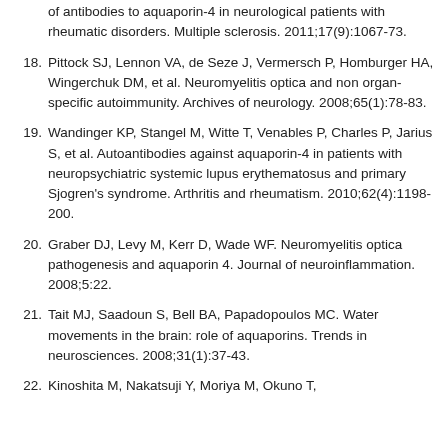of antibodies to aquaporin-4 in neurological patients with rheumatic disorders. Multiple sclerosis. 2011;17(9):1067-73.
18. Pittock SJ, Lennon VA, de Seze J, Vermersch P, Homburger HA, Wingerchuk DM, et al. Neuromyelitis optica and non organ-specific autoimmunity. Archives of neurology. 2008;65(1):78-83.
19. Wandinger KP, Stangel M, Witte T, Venables P, Charles P, Jarius S, et al. Autoantibodies against aquaporin-4 in patients with neuropsychiatric systemic lupus erythematosus and primary Sjogren's syndrome. Arthritis and rheumatism. 2010;62(4):1198-200.
20. Graber DJ, Levy M, Kerr D, Wade WF. Neuromyelitis optica pathogenesis and aquaporin 4. Journal of neuroinflammation. 2008;5:22.
21. Tait MJ, Saadoun S, Bell BA, Papadopoulos MC. Water movements in the brain: role of aquaporins. Trends in neurosciences. 2008;31(1):37-43.
22. Kinoshita M, Nakatsuji Y, Moriya M, Okuno T,